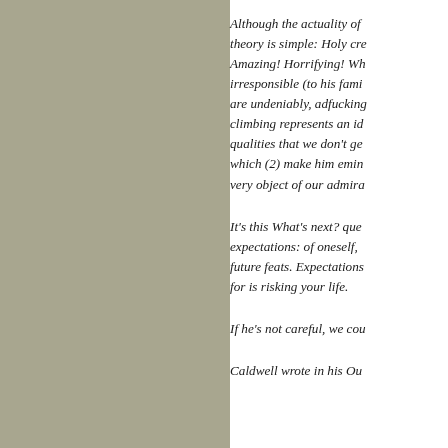[Figure (other): Solid grayish-green/tan colored rectangle filling the left half of the page]
Although the actuality of theory is simple: Holy cre Amazing! Horrifying! Wh irresponsible (to his fami are undeniably, adfucking climbing represents an id qualities that we don't ge which (2) make him emin very object of our admira
It's this What's next? que expectations: of oneself, future feats. Expectations for is risking your life.
If he's not careful, we cou
Caldwell wrote in his Ou